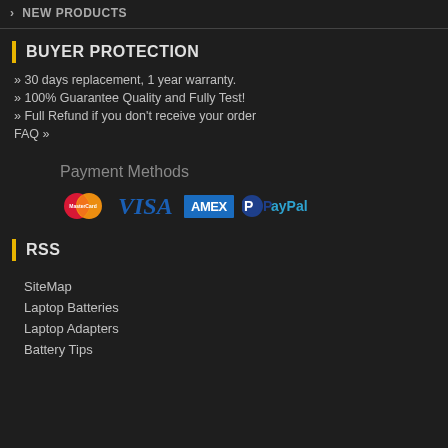> NEW PRODUCTS
BUYER PROTECTION
» 30 days replacement, 1 year warranty.
» 100% Guarantee Quality and Fully Test!
» Full Refund if you don't receive your order
FAQ »
Payment Methods
[Figure (logo): Payment method logos: MasterCard, VISA, AMEX, PayPal]
RSS
SiteMap
Laptop Batteries
Laptop Adapters
Battery Tips